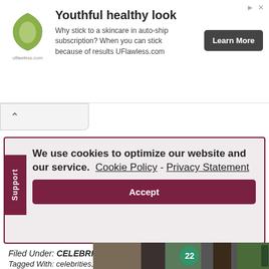[Figure (screenshot): Advertisement banner for UFlawless skincare. Logo is a green shield/leaf shape. Title: 'Youthful healthy look'. Body: 'Why stick to a skincare in auto-ship subscription? When you can stick because of results UFlawless.com'. Button: 'Learn More' on dark background.]
We use cookies to optimize our website and our service.  Cookie Policy - Privacy Statement
Accept
Filed Under: CELEBRITIES
Tagged With: celebrities, pastel hair color
[Figure (photo): Partial bottom advertisement image strip showing food/cooking scene.]